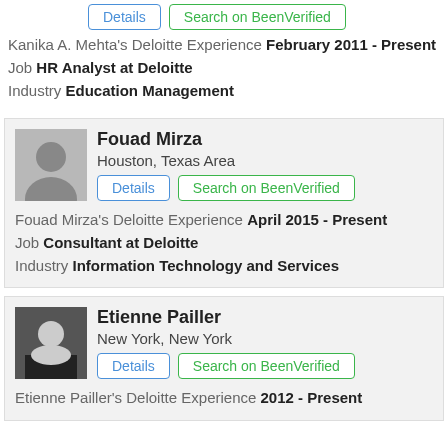Details | Search on BeenVerified (buttons)
Kanika A. Mehta's Deloitte Experience February 2011 - Present
Job HR Analyst at Deloitte
Industry Education Management
Fouad Mirza, Houston, Texas Area
Details | Search on BeenVerified
Fouad Mirza's Deloitte Experience April 2015 - Present
Job Consultant at Deloitte
Industry Information Technology and Services
Etienne Pailler, New York, New York
Details | Search on BeenVerified
Etienne Pailler's Deloitte Experience 2012 - Present